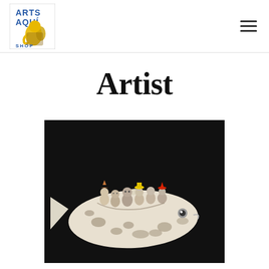Arts Aqui Shop logo and navigation
Artist
[Figure (photo): Ceramic sculpture of small figurines riding inside a large white fish-shaped vessel, set against a dark black background. The figurines have simple faces and colorful accents (red, yellow hats). The fish is white with brown speckled texture.]